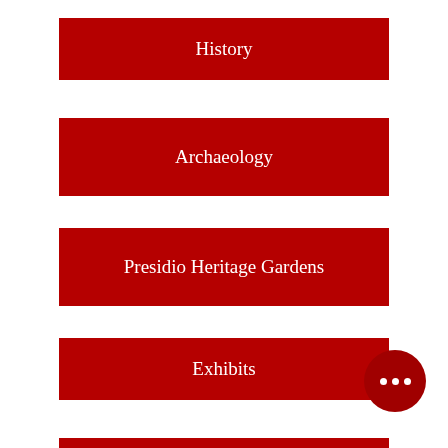History
Archaeology
Presidio Heritage Gardens
Exhibits
California State Parks & SBTHP